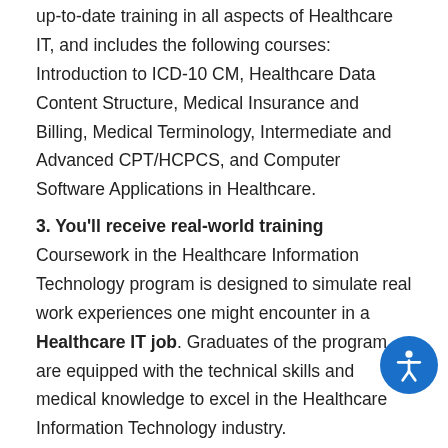up-to-date training in all aspects of Healthcare IT, and includes the following courses: Introduction to ICD-10 CM, Healthcare Data Content Structure, Medical Insurance and Billing, Medical Terminology, Intermediate and Advanced CPT/HCPCS, and Computer Software Applications in Healthcare.
3. You'll receive real-world training
Coursework in the Healthcare Information Technology program is designed to simulate real work experiences one might encounter in a Healthcare IT job. Graduates of the program are equipped with the technical skills and medical knowledge to excel in the Healthcare Information Technology industry.
4. Healthcare Information Technology instructors are experts in the field
When you enroll in the Healthcare IT program at...